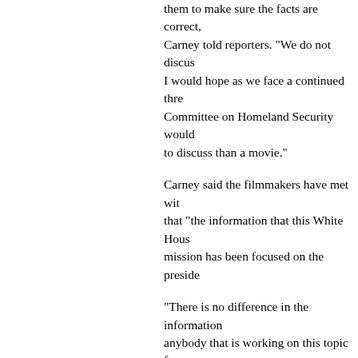them to make sure the facts are correct, Carney told reporters. "We do not discus I would hope as we face a continued thre Committee on Homeland Security would to discuss than a movie."
Carney said the filmmakers have met wit that "the information that this White Hous mission has been focused on the preside
"There is no difference in the information anybody that is working on this topic fron you in this room who worked on it in the raid itself," Carney said.
"Someone wrote out a statement for Jay what he talking about," King told CNN in
Philip Strub, the Pentagon's director of e had had one meeting with Bigelow and h since bin Laden was killed.
That was a preliminary discussion involvin and Michael Vickers, the undersecretar